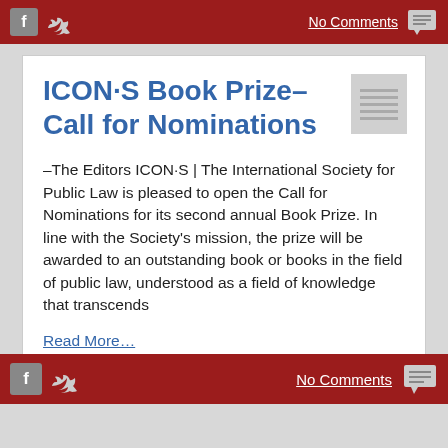No Comments
ICON·S Book Prize–Call for Nominations
–The Editors ICON·S | The International Society for Public Law is pleased to open the Call for Nominations for its second annual Book Prize. In line with the Society's mission, the prize will be awarded to an outstanding book or books in the field of public law, understood as a field of knowledge that transcends
Read More…
Published on November 23, 2018
Author: The Editors    Filed under: Developments
No Comments